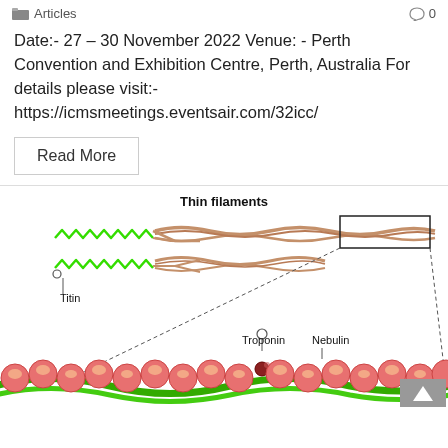Articles  0
Date:- 27 – 30 November 2022 Venue: - Perth Convention and Exhibition Centre, Perth, Australia For details please visit:- https://icmsmeetings.eventsair.com/32icc/
Read More
[Figure (illustration): Scientific diagram showing thin filaments of muscle structure. Labels indicate Titin (green zigzag spring on left), Troponin and Nebulin (labeled with leader lines at bottom). The diagram shows twisted filament strands with a boxed magnification region. Bottom portion shows colorful actin filament with red/pink spherical subunits and green backbone.]